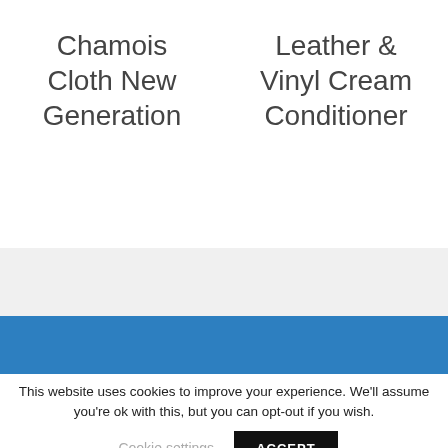Chamois Cloth New Generation
Leather & Vinyl Cream Conditioner
This website uses cookies to improve your experience. We'll assume you're ok with this, but you can opt-out if you wish.
Cookie settings
ACCEPT